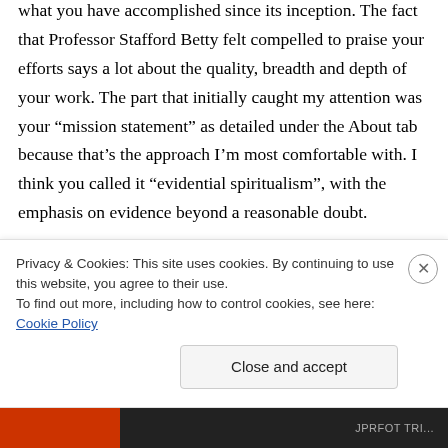what you have accomplished since its inception. The fact that Professor Stafford Betty felt compelled to praise your efforts says a lot about the quality, breadth and depth of your work. The part that initially caught my attention was your “mission statement” as detailed under the About tab because that’s the approach I’m most comfortable with. I think you called it “evidential spiritualism”, with the emphasis on evidence beyond a reasonable doubt.
That brings me to the substance of my
Privacy & Cookies: This site uses cookies. By continuing to use this website, you agree to their use.
To find out more, including how to control cookies, see here: Cookie Policy
Close and accept